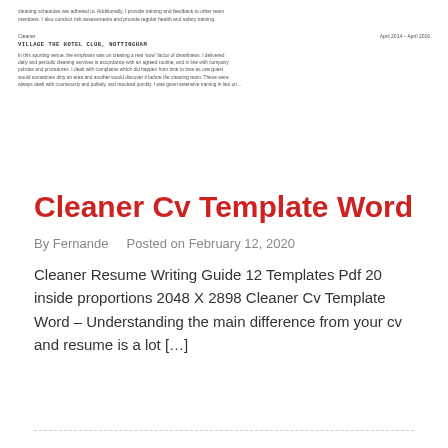[Figure (screenshot): Partial screenshot of a CV/resume document showing a Cleaner job entry for VILLAGE THE HOTEL CLUB, NOTTINGHAM, April 2014 – April 2016, with descriptive text about cleaning duties.]
Cleaner Cv Template Word
By Fernande   Posted on February 12, 2020
Cleaner Resume Writing Guide 12 Templates Pdf 20 inside proportions 2048 X 2898 Cleaner Cv Template Word – Understanding the main difference from your cv and resume is a lot […]